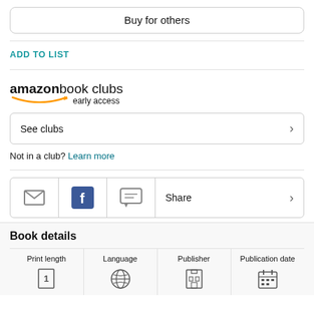Buy for others
ADD TO LIST
[Figure (logo): Amazon Book Clubs early access logo]
See clubs
Not in a club? Learn more
[Figure (infographic): Share row with email, Facebook, and message icons plus Share label]
Book details
| Print length | Language | Publisher | Publication date |
| --- | --- | --- | --- |